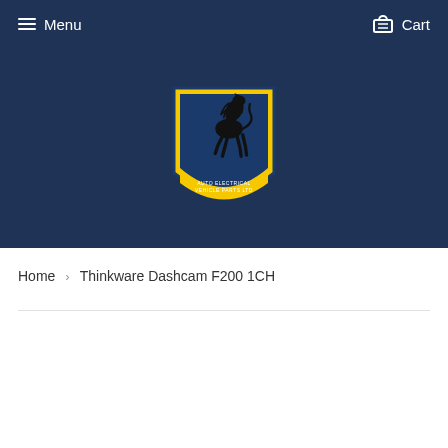Menu  Cart
[Figure (logo): Letang Auto Electrical Vehicle Parts Ltd logo — yellow shield with black rearing horse and blue text LETANG AUTO ELECTRICAL VEHICLE PARTS LTD]
Home › Thinkware Dashcam F200 1CH